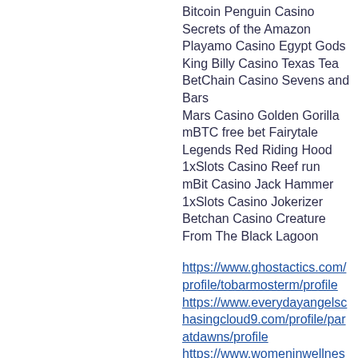Bitcoin Penguin Casino Secrets of the Amazon
Playamo Casino Egypt Gods
King Billy Casino Texas Tea
BetChain Casino Sevens and Bars
Mars Casino Golden Gorilla
mBTC free bet Fairytale Legends Red Riding Hood
1xSlots Casino Reef run
mBit Casino Jack Hammer
1xSlots Casino Jokerizer
Betchan Casino Creature From The Black Lagoon
https://www.ghostactics.com/profile/tobarmosterm/profile
https://www.everydayangelschasingcloud9.com/profile/paratdawns/profile
https://www.womeninwellnesstogether.com/profile/torezwergins/profile
https://www.vazifihtiyar.com/profile/crullca...